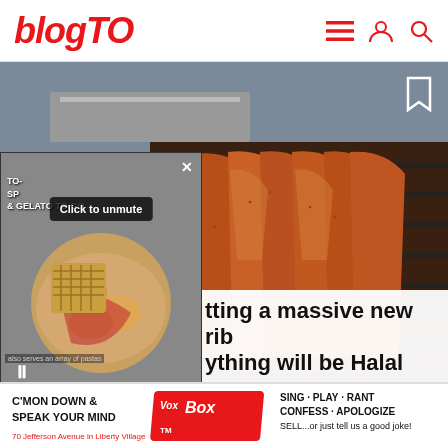blogTO
[Figure (screenshot): blogTO website screenshot showing a main article image of BBQ ribs on a grill with a chef in background, overlaid by a small video popup showing food with 'Click to unmute' button and '& GELATO TO-GO' text, bookmark icon top right, and partial headline text 'tting a massive new rib' and 'ything will be Halal']
[Figure (photo): Advertisement banner: C'MON DOWN & SPEAK YOUR MIND VoxBox SING·PLAY·RANT CONFESS·APOLOGIZE SELL...or just tell us a good joke! 70 Jefferson Avenue in Liberty Village]